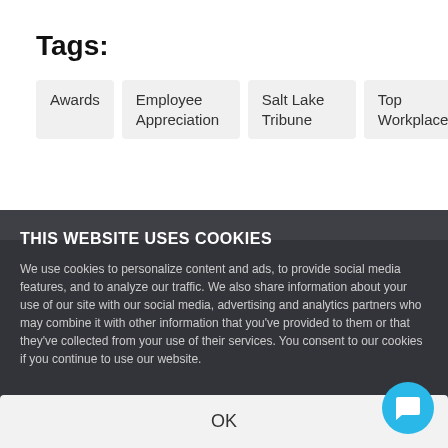Tags:
Awards
Employee Appreciation
Salt Lake Tribune
Top Workplace
Related Posts
THIS WEBSITE USES COOKIES
We use cookies to personalize content and ads, to provide social media features, and to analyze our traffic. We also share information about your use of our site with our social media, advertising and analytics partners who may combine it with other information that you've provided to them or that they've collected from your use of their services. You consent to our cookies if you continue to use our website.
OK